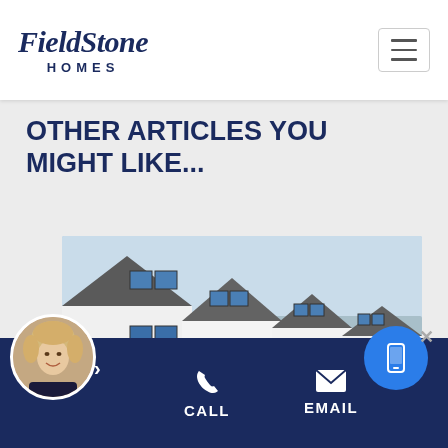[Figure (logo): FieldStone Homes logo in dark navy, italic serif font with HOMES in small caps below]
[Figure (other): Hamburger menu button (three horizontal lines) in a rounded rectangle border]
OTHER ARTICLES YOU MIGHT LIKE...
[Figure (photo): Row of modern white townhomes with grey roofs, blue shutters and windows, bare winter trees in front, blue sky background]
[Figure (photo): Circular avatar photo of a smiling blonde woman in a dark top]
CALL
EMAIL